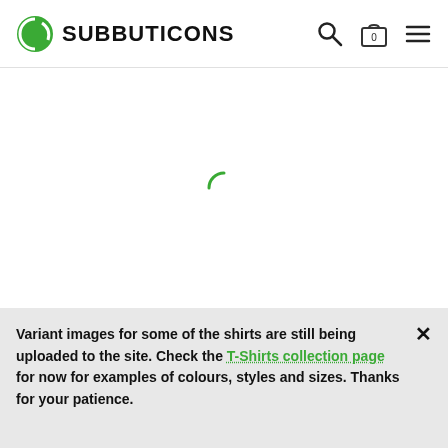SUBBUTICONS
[Figure (illustration): Green loading spinner (partial circle arc) centered in the white content area]
Variant images for some of the shirts are still being uploaded to the site. Check the T-Shirts collection page for now for examples of colours, styles and sizes. Thanks for your patience.